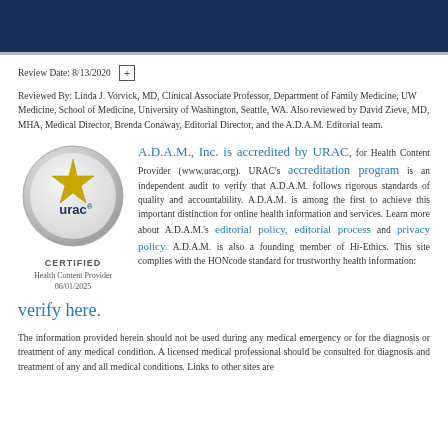Review Date: 8/13/2020
Reviewed By: Linda J. Vorvick, MD, Clinical Associate Professor, Department of Family Medicine, UW Medicine, School of Medicine, University of Washington, Seattle, WA. Also reviewed by David Zieve, MD, MHA, Medical Director, Brenda Conaway, Editorial Director, and the A.D.A.M. Editorial team.
[Figure (logo): URAC certified Health Content Provider badge with gold star logo, dated 06/01/2025]
A.D.A.M., Inc. is accredited by URAC, for Health Content Provider (www.urac.org). URAC's accreditation program is an independent audit to verify that A.D.A.M. follows rigorous standards of quality and accountability. A.D.A.M. is among the first to achieve this important distinction for online health information and services. Learn more about A.D.A.M.'s editorial policy, editorial process and privacy policy. A.D.A.M. is also a founding member of Hi-Ethics. This site complies with the HONcode standard for trustworthy health information:
verify here.
The information provided herein should not be used during any medical emergency or for the diagnosis or treatment of any medical condition. A licensed medical professional should be consulted for diagnosis and treatment of any and all medical conditions. Links to other sites are